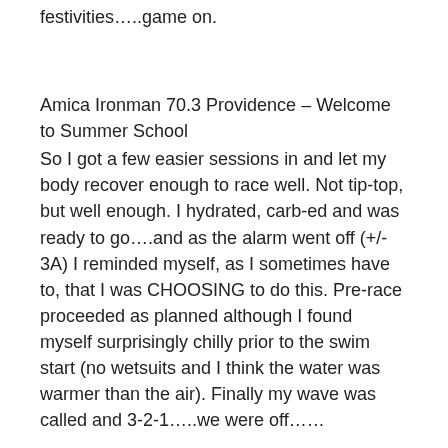festivities…..game on.
Amica Ironman 70.3 Providence – Welcome to Summer School
So I got a few easier sessions in and let my body recover enough to race well.  Not tip-top, but well enough.  I hydrated, carb-ed and was ready to go….and as the alarm went off (+/- 3A) I reminded myself, as I sometimes have to, that I was CHOOSING to do this.  Pre-race proceeded as planned although I found myself surprisingly chilly prior to the swim start (no wetsuits and I think the water was warmer than the air).  Finally my wave was called and 3-2-1…..we were off……
I started pretty well and for the first few hundred meters (+/- 10-20%) I felt on track for a good day.  I